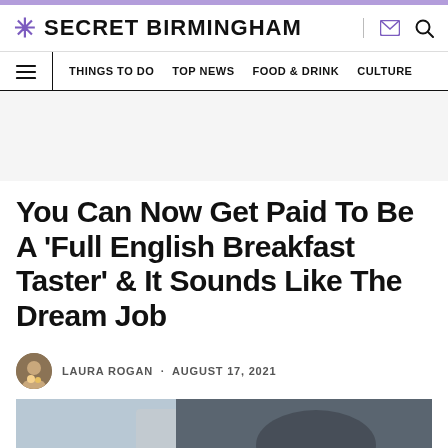SECRET BIRMINGHAM
THINGS TO DO · TOP NEWS · FOOD & DRINK · CULTURE
You Can Now Get Paid To Be A ‘Full English Breakfast Taster’ & It Sounds Like The Dream Job
LAURA ROGAN · AUGUST 17, 2021
[Figure (photo): Partial photo of a full English breakfast scene]